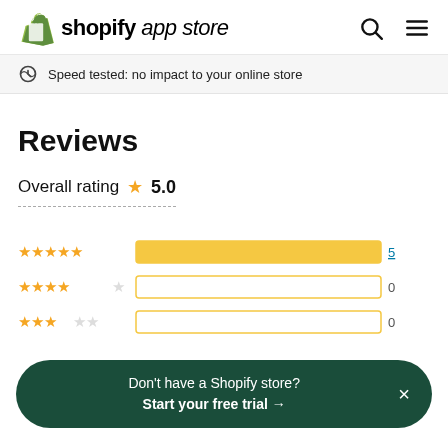shopify app store
Speed tested: no impact to your online store
Reviews
Overall rating ★ 5.0
[Figure (bar-chart): Rating distribution]
Don't have a Shopify store? Start your free trial →